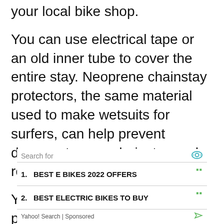your local bike shop.
You can use electrical tape or an old inner tube to cover the entire stay. Neoprene chainstay protectors, the same material used to make wetsuits for surfers, can help prevent damage to your chainstay and reduce noise from chain slap.
You can use one of these to protect your bike from the rain. However, you should remove it after every time you ride in the rain, as it can
Search for
1. BEST E BIKES 2022 OFFERS
2. BEST ELECTRIC BIKES TO BUY
Yahoo! Search | Sponsored